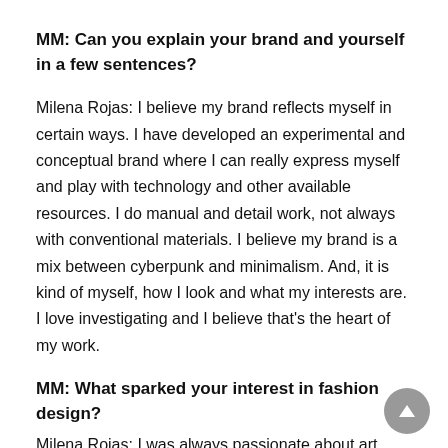MM: Can you explain your brand and yourself in a few sentences?
Milena Rojas: I believe my brand reflects myself in certain ways. I have developed an experimental and conceptual brand where I can really express myself and play with technology and other available resources. I do manual and detail work, not always with conventional materials. I believe my brand is a mix between cyberpunk and minimalism. And, it is kind of myself, how I look and what my interests are. I love investigating and I believe that’s the heart of my work.
MM: What sparked your interest in fashion design?
Milena Rojas: I was always passionate about art. Since